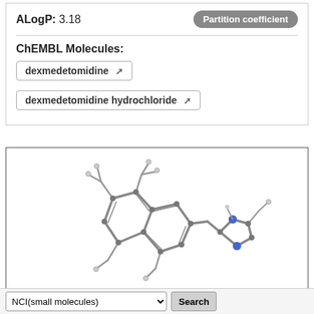ALogP: 3.18
Partition coefficient
ChEMBL Molecules:
dexmedetomidine ↗
dexmedetomidine hydrochloride ↗
[Figure (illustration): 3D ball-and-stick molecular model of dexmedetomidine showing a dimethyl-substituted phenyl ring fused with an indane/naphthalene-like structure connected to an imidazole ring with blue nitrogen atoms]
NCI(small molecules)   Search